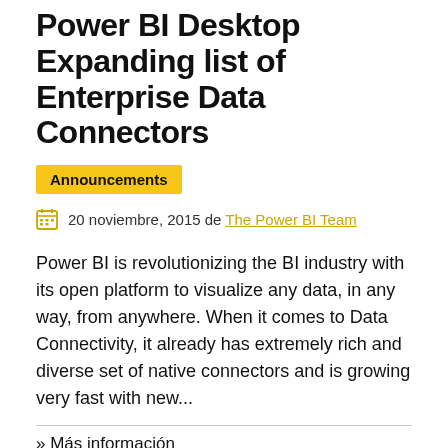Power BI Desktop Expanding list of Enterprise Data Connectors
Announcements
20 noviembre, 2015 de The Power BI Team
Power BI is revolutionizing the BI industry with its open platform to visualize any data, in any way, from anywhere. When it comes to Data Connectivity, it already has extremely rich and diverse set of native connectors and is growing very fast with new...
» Más información